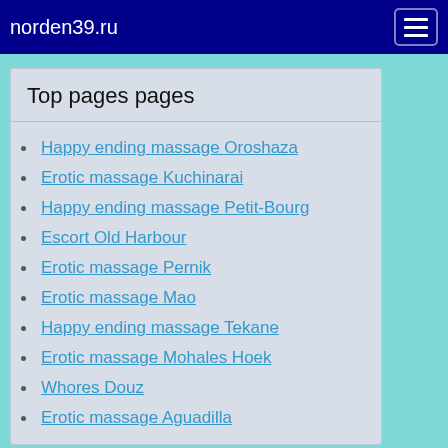norden39.ru
Top pages pages
Happy ending massage Oroshaza
Erotic massage Kuchinarai
Happy ending massage Petit-Bourg
Escort Old Harbour
Erotic massage Pernik
Erotic massage Mao
Happy ending massage Tekane
Erotic massage Mohales Hoek
Whores Douz
Erotic massage Aguadilla